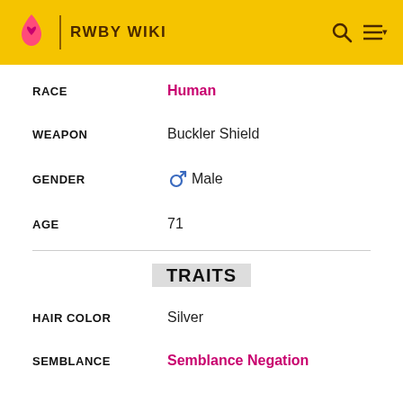RWBY WIKI
| ATTRIBUTE | VALUE |
| --- | --- |
| RACE | Human |
| WEAPON | Buckler Shield |
| GENDER | ♂ Male |
| AGE | 71 |
TRAITS
| ATTRIBUTE | VALUE |
| --- | --- |
| HAIR COLOR | Silver |
| SEMBLANCE | Semblance Negation |